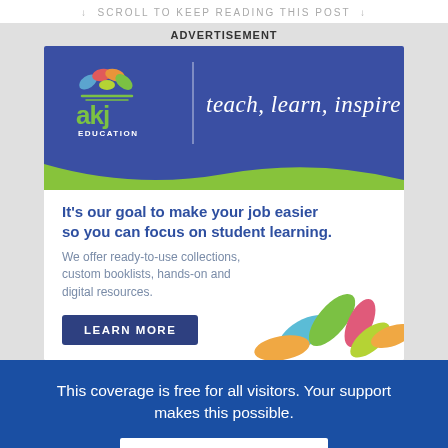↓  SCROLL TO KEEP READING THIS POST  ↓
ADVERTISEMENT
[Figure (illustration): AKJ Education advertisement banner. Blue header with AKJ Education logo (colorful leaf/book graphic, green 'akj' text, 'EDUCATION' below) and white tagline 'teach, learn, inspire' in italic script. Green wave separator. White content area with bold blue headline 'It's our goal to make your job easier so you can focus on student learning.' followed by grey body text 'We offer ready-to-use collections, custom booklists, hands-on and digital resources.' Dark blue 'LEARN MORE' button. Decorative colorful leaves (green, red/pink, light green, orange, teal) in lower right.]
This coverage is free for all visitors. Your support makes this possible.
SUBSCRIBE